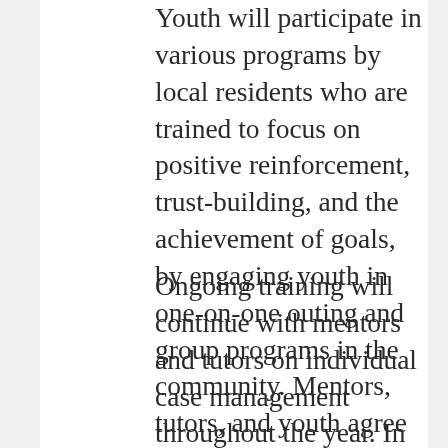Youth will participate in various programs by local residents who are trained to focus on positive reinforcement, trust-building, and the achievement of goals, by engaging youth in one-on-one outing and group programs in the community. Mentors, tutors, and youth agree to meet for between 10-15 hours per month for a full year.
Ongoing training will continue with mentors and tutors on individual case management throughout the year. In addition, The Fellas will have monthly mentor and tutor support meetings.